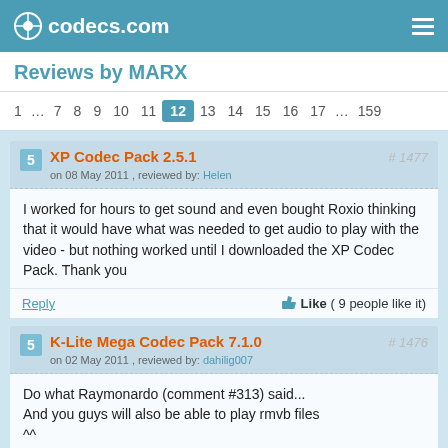codecs.com
Reviews by MARX
1 … 7 8 9 10 11 12 13 14 15 16 17 … 159
XP Codec Pack 2.5.1 — on 08 May 2011 , reviewed by: Helen — # 1477
I worked for hours to get sound and even bought Roxio thinking that it would have what was needed to get audio to play with the video - but nothing worked until I downloaded the XP Codec Pack. Thank you
Reply  Like ( 9 people like it)
K-Lite Mega Codec Pack 7.1.0 — on 02 May 2011 , reviewed by: dahilig007 — # 1476
Do what Raymonardo (comment #313) said... And you guys will also be able to play rmvb files ^^